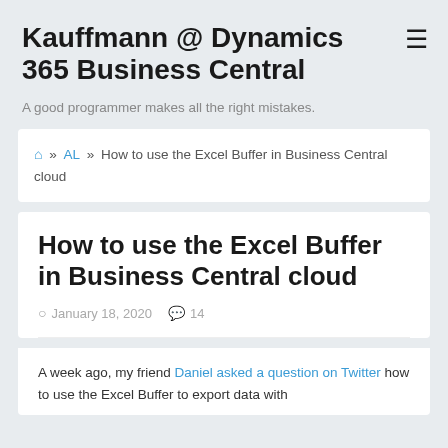Kauffmann @ Dynamics 365 Business Central
A good programmer makes all the right mistakes.
🏠 » AL » How to use the Excel Buffer in Business Central cloud
How to use the Excel Buffer in Business Central cloud
January 18, 2020  14
A week ago, my friend Daniel asked a question on Twitter how to use the Excel Buffer to export data with